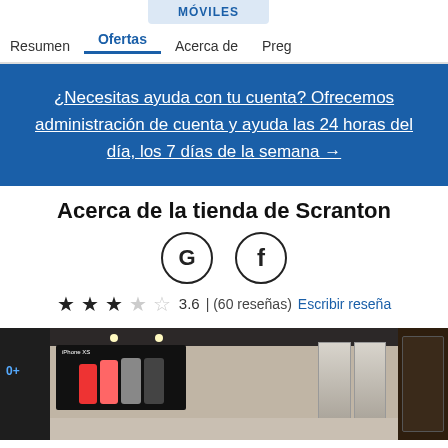MÓVILES | Resumen | Ofertas | Acerca de | Preg
¿Necesitas ayuda con tu cuenta? Ofrecemos administración de cuenta y ayuda las 24 horas del día, los 7 días de la semana →
Acerca de la tienda de Scranton
[Figure (logo): Google G icon and Facebook f icon in circles]
3.6 | (60 reseñas) Escribir reseña
[Figure (photo): Interior of Scranton mobile store showing display cases with phones and glass door entrance]